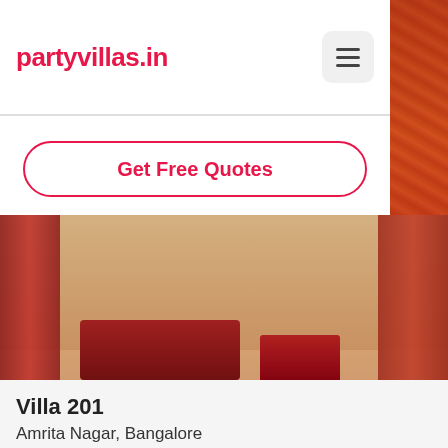partyvillas.in
Get Free Quotes
[Figure (photo): Interior room photo showing floor-level seating with red fabric/cushions and drapes, wooden floor, typical Indian party villa setup]
Villa 201
Amrita Nagar, Bangalore
★★★★★ (18 reviews)
₹10000/night